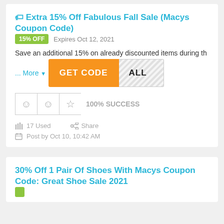🏷 Extra 15% Off Fabulous Fall Sale (Macys Coupon Code)
15% OFF   Expires Oct 12, 2021
Save an additional 15% on already discounted items during th
... More
[Figure (other): GET CODE button with diagonal stripe code reveal area showing 'ALL']
100% SUCCESS
17 Used   Share
Post by Oct 10, 10:42 AM
30% Off 1 Pair Of Shoes With Macys Coupon Code: Great Shoe Sale 2021